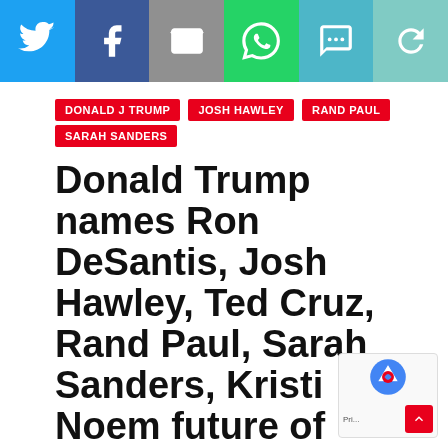[Figure (infographic): Social media share bar with Twitter, Facebook, Email, WhatsApp, SMS, and refresh icons on colored backgrounds]
DONALD J TRUMP
JOSH HAWLEY
RAND PAUL
SARAH SANDERS
Donald Trump names Ron DeSantis, Josh Hawley, Ted Cruz, Rand Paul, Sarah Sanders, Kristi Noem future of Republican Party